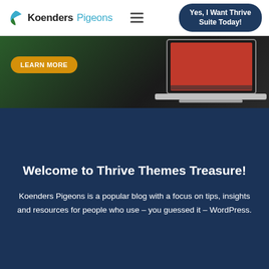Koenders Pigeons | Yes, I Want Thrive Suite Today!
[Figure (screenshot): Banner showing a laptop with a green background and a yellow 'LEARN MORE' button]
Welcome to Thrive Themes Treasure!
Koenders Pigeons is a popular blog with a focus on tips, insights and resources for people who use – you guessed it – WordPress.
SHOP.